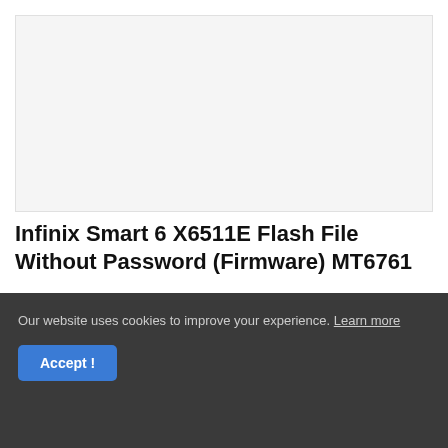[Figure (other): Light gray placeholder image area]
Infinix Smart 6 X6511E Flash File Without Password (Firmware) MT6761
Post a Comment (0)
Our website uses cookies to improve your experience. Learn more
Accept !